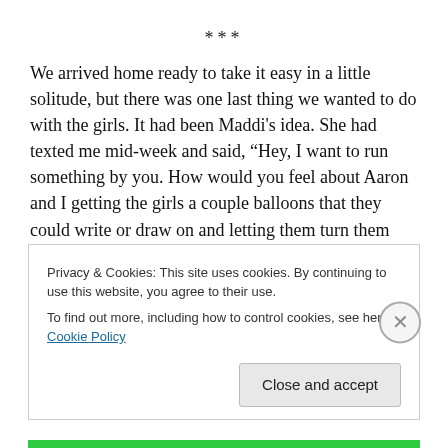***
We arrived home ready to take it easy in a little solitude, but there was one last thing we wanted to do with the girls. It had been Maddi’s idea. She had texted me mid-week and said, “Hey, I want to run something by you. How would you feel about Aaron and I getting the girls a couple balloons that they could write or draw on and letting them turn them loose after Leif’s funeral?”
Privacy & Cookies: This site uses cookies. By continuing to use this website, you agree to their use.
To find out more, including how to control cookies, see here: Cookie Policy
Close and accept